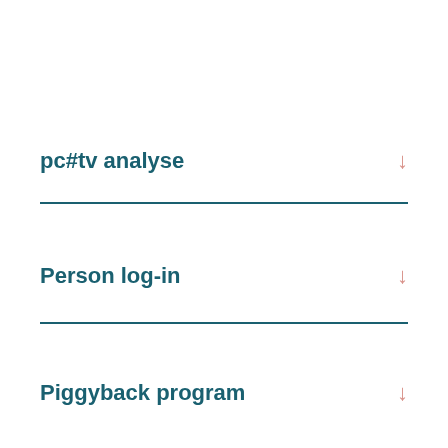pc#tv analyse
Person log-in
Piggyback program